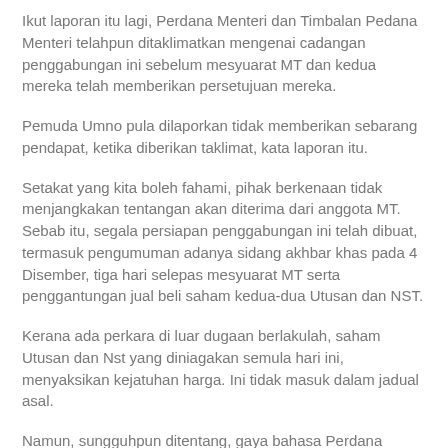Ikut laporan itu lagi, Perdana Menteri dan Timbalan Pedana Menteri telahpun ditaklimatkan mengenai cadangan penggabungan ini sebelum mesyuarat MT dan kedua mereka telah memberikan persetujuan mereka.
Pemuda Umno pula dilaporkan tidak memberikan sebarang pendapat, ketika diberikan taklimat, kata laporan itu.
Setakat yang kita boleh fahami, pihak berkenaan tidak menjangkakan tentangan akan diterima dari anggota MT. Sebab itu, segala persiapan penggabungan ini telah dibuat, termasuk pengumuman adanya sidang akhbar khas pada 4 Disember, tiga hari selepas mesyuarat MT serta penggantungan jual beli saham kedua-dua Utusan dan NST.
Kerana ada perkara di luar dugaan berlakulah, saham Utusan dan Nst yang diniagakan semula hari ini, menyaksikan kejatuhan harga. Ini tidak masuk dalam jadual asal.
Namun, sungguhpun ditentang, gaya bahasa Perdana Menteri ketika mengupas isu ini ialah - kena jadi.